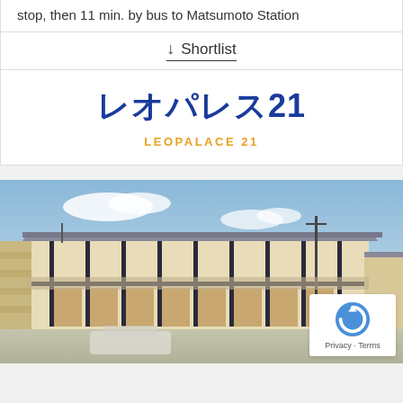stop, then 11 min. by bus to Matsumoto Station
↓ Shortlist
[Figure (logo): Leo Palace 21 logo with Japanese text レオパレス21 in blue and LEOPALACE 21 in orange below]
[Figure (photo): Exterior photo of a two-story Leo Palace 21 apartment building with glass and beige panel facade, parking lot in foreground, blue sky background. reCAPTCHA badge visible in bottom right corner.]